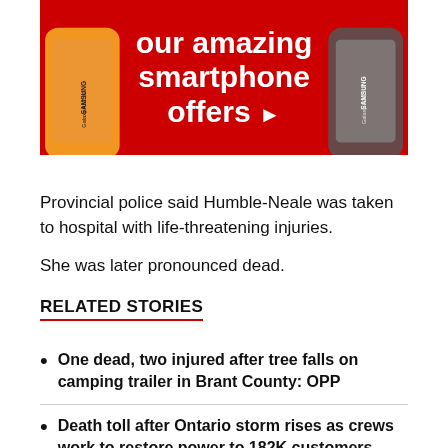[Figure (illustration): Advertisement banner with red background showing Samsung smartphones (Galaxy A52 5G on left, Galaxy S21 5G on right) and white bold text reading 'our amazing smartphone offers' with an arrow.]
Provincial police said Humble-Neale was taken to hospital with life-threatening injuries.
She was later pronounced dead.
RELATED STORIES
One dead, two injured after tree falls on camping trailer in Brant County: OPP
Death toll after Ontario storm rises as crews work to restore power to 182K customers.